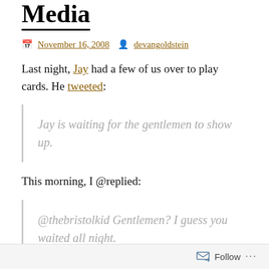...a Problem of Social Media
November 16, 2008   devangoldstein
Last night, Jay had a few of us over to play cards. He tweeted:
Jay is waiting for the gentlemen to show up.
This morning, I @replied:
@thebristolkid Gentlemen? I guess you waited all night.
Follow ...